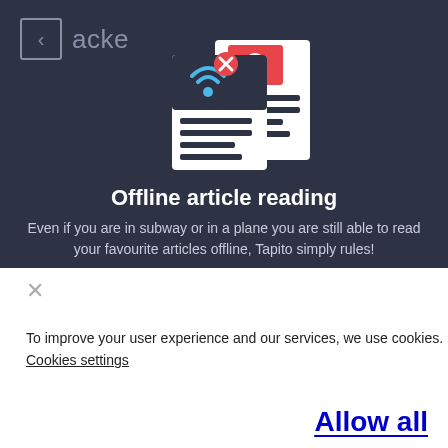[Figure (illustration): Two overlapping document/article cards with a wifi-off icon (wifi signal with a red X) on the top-left card and a red card with white dots on the right, representing offline reading feature]
Offline article reading
Even if you are in subway or in a plane you are still able to read your favourite articles offline, Tapito simply rules!
×
To improve your user experience and our services, we use cookies.
Cookies settings
Allow all